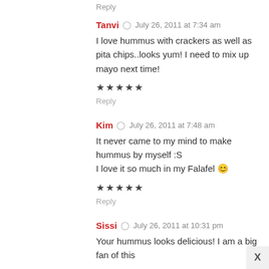Reply
Tanvi  July 26, 2011 at 7:34 am
I love hummus with crackers as well as pita chips..looks yum! I need to mix up mayo next time!
★★★★★
Reply
Kim  July 26, 2011 at 7:48 am
It never came to my mind to make hummus by myself :S
I love it so much in my Falafel 😊
★★★★★
Reply
Sissi  July 26, 2011 at 10:31 pm
Your hummus looks delicious! I am a big fan of this